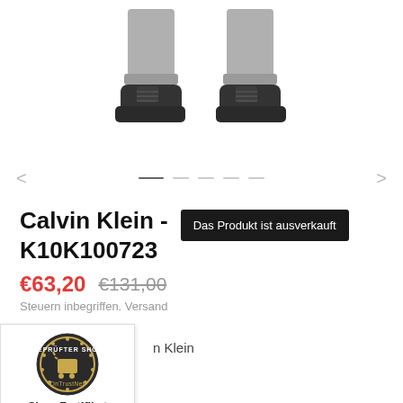[Figure (photo): Product photo showing lower legs of a person wearing dark sneakers (Calvin Klein K10K100723) with gray cuffed jeans, on white background]
Calvin Klein - K10K100723
Das Produkt ist ausverkauft
€63,20  €131,00
Steuern inbegriffen. Versand
n Klein
[Figure (logo): Geprüfter Shop OnTrustNet badge with shopping cart icon]
Shop-Zertifikat
232101421914